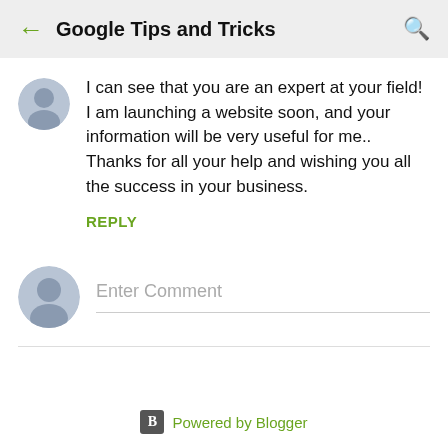Google Tips and Tricks
I can see that you are an expert at your field! I am launching a website soon, and your information will be very useful for me.. Thanks for all your help and wishing you all the success in your business.
REPLY
Enter Comment
Powered by Blogger